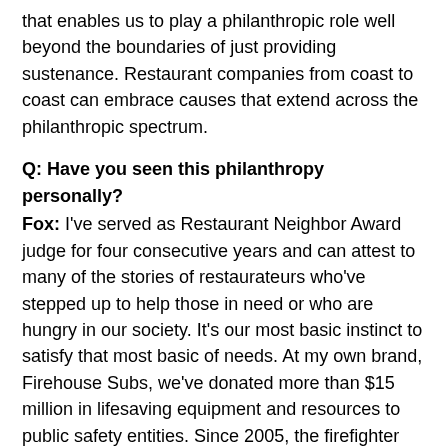that enables us to play a philanthropic role well beyond the boundaries of just providing sustenance. Restaurant companies from coast to coast can embrace causes that extend across the philanthropic spectrum.
Q: Have you seen this philanthropy personally? Fox: I've served as Restaurant Neighbor Award judge for four consecutive years and can attest to many of the stories of restaurateurs who've stepped up to help those in need or who are hungry in our society. It's our most basic instinct to satisfy that most basic of needs. At my own brand, Firehouse Subs, we've donated more than $15 million in lifesaving equipment and resources to public safety entities. Since 2005, the firefighter founders of our company have channeled their passion for public safety into the formation of the Firehouse Subs Public Safety Foundation. As our brand has grown, our primary purpose is to enable the success of the foundation. After all, what could be more important than saving lives?